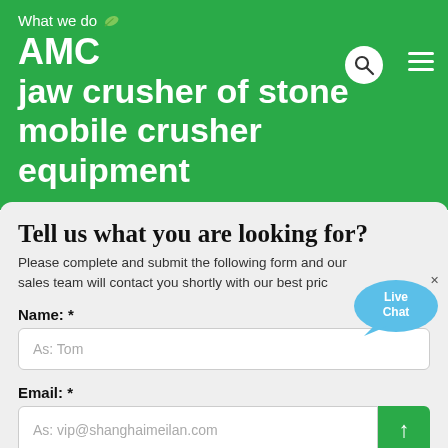What we do
AMC jaw crusher of stone mobile crusher equipment
Tell us what you are looking for?
Please complete and submit the following form and our sales team will contact you shortly with our best price.
Name: *
As: Tom
Email: *
As: vip@shanghaimeilan.com
Phone: *
With Country Code